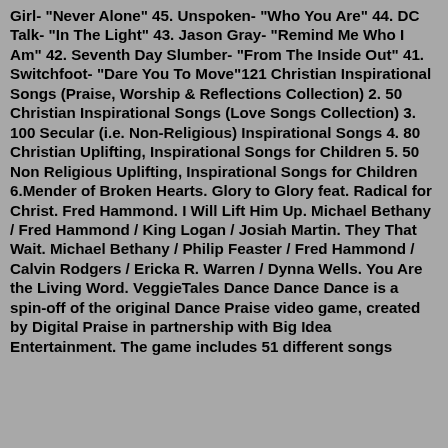Girl- "Never Alone" 45. Unspoken- "Who You Are" 44. DC Talk- "In The Light" 43. Jason Gray- "Remind Me Who I Am" 42. Seventh Day Slumber- "From The Inside Out" 41. Switchfoot- "Dare You To Move"121 Christian Inspirational Songs (Praise, Worship & Reflections Collection) 2. 50 Christian Inspirational Songs (Love Songs Collection) 3. 100 Secular (i.e. Non-Religious) Inspirational Songs 4. 80 Christian Uplifting, Inspirational Songs for Children 5. 50 Non Religious Uplifting, Inspirational Songs for Children 6.Mender of Broken Hearts. Glory to Glory feat. Radical for Christ. Fred Hammond. I Will Lift Him Up. Michael Bethany / Fred Hammond / King Logan / Josiah Martin. They That Wait. Michael Bethany / Philip Feaster / Fred Hammond / Calvin Rodgers / Ericka R. Warren / Dynna Wells. You Are the Living Word. VeggieTales Dance Dance Dance is a spin-off of the original Dance Praise video game, created by Digital Praise in partnership with Big Idea Entertainment. The game includes 51 different songs